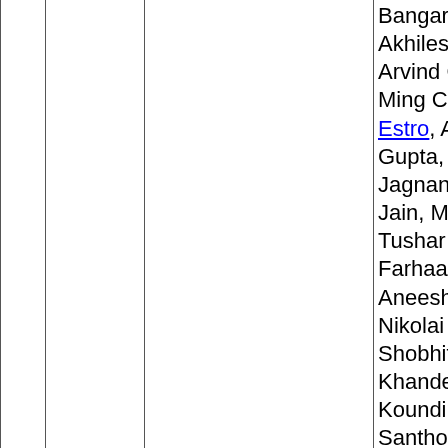| # | Name | Title | Authors |
| --- | --- | --- | --- |
|  |  |  | Bangaru, Leon Jae, Akhilesh Chaganti, Arvind Chaudhary, Ming Chen, Tyler Estro, Abhishek Gupta, Pragesh Jagnani, Deepak Jain, Mehul Jain, Tushar Jain, Farhaan Jalia, Aneesh Joshi, Nikolai Joukov, Shobhit Khandelwal, Koundinya Santhosh Kumar, Noopur Anil Maheshwari, Sonam Mandal, Amar Mudrankit, Vithiya Muthukumar, Henry Nelson, Ritika Nevatia, Dongju Ok, Karthikeyani Palanisami, Nidhi Panpalia, Dhanashri Patil, Deepika Peringanji, Dhivahar Perumal |
| 20 | hncperf | Performance Analysis and Optimization of |  |